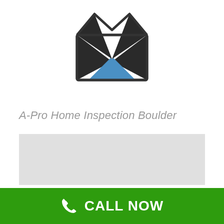[Figure (illustration): Open envelope icon with black triangular flap sections and a blue mountain/triangle shape visible inside the envelope body, with a dark outlined envelope border.]
A-Pro Home Inspection Boulder
[Figure (map): A light gray map placeholder area with no visible detail or labels.]
CALL NOW